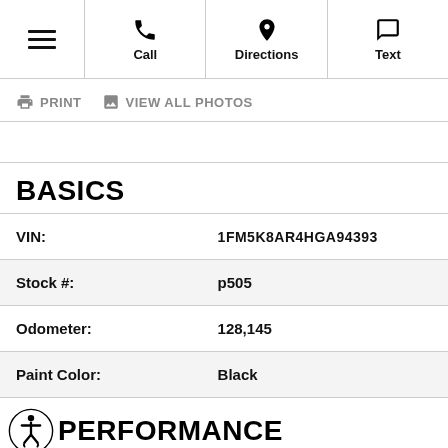Menu | Call | Directions | Text
PRINT  VIEW ALL PHOTOS
BASICS
|  |  |
| --- | --- |
| VIN: | 1FM5K8AR4HGA94393 |
| Stock #: | p505 |
| Odometer: | 128,145 |
| Paint Color: | Black |
PERFORMANCE